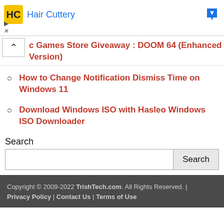[Figure (screenshot): Advertisement bar with Hair Cuttery logo and name, with a blue arrow icon on the right, and ad meta (triangle and x icons) on the left below]
c Games Store Giveaway : DOOM 64 (Enhanced Version)
How to Change Notification Dismiss Time on Windows 11
Download Windows ISO with Hasleo Windows ISO Downloader
Search
Search (input and button)
Copyright © 2009-2022 TrishTech.com. All Rights Reserved. | Privacy Policy | Contact Us | Terms of Use